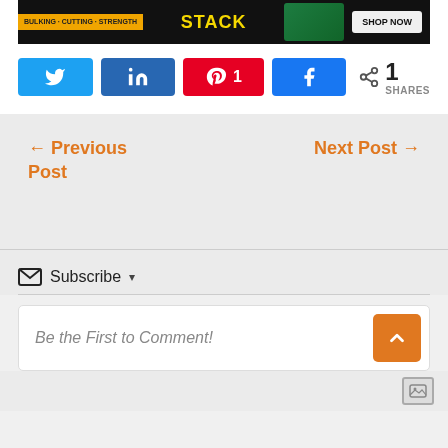[Figure (other): Ad banner for supplement stack – black background with yellow 'STACK' text and 'SHOP NOW' button]
[Figure (other): Social share buttons: Twitter, LinkedIn, Pinterest (1), Facebook, and share count showing 1 SHARES]
← Previous Post
Next Post →
Subscribe ▾
Be the First to Comment!